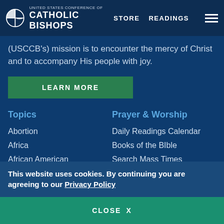UNITED STATES CONFERENCE OF CATHOLIC BISHOPS | STORE | READINGS
(USCCB's) mission is to encounter the mercy of Christ and to accompany His people with joy.
LEARN MORE
Topics
Abortion
Africa
African American
Asia
Asian/Pacific Islander
Prayer & Worship
Daily Readings Calendar
Books of the BIble
Search Mass Times
Prayer
Liturgical Year & Calendar
This website uses cookies. By continuing you are agreeing to our Privacy Policy
CLOSE X